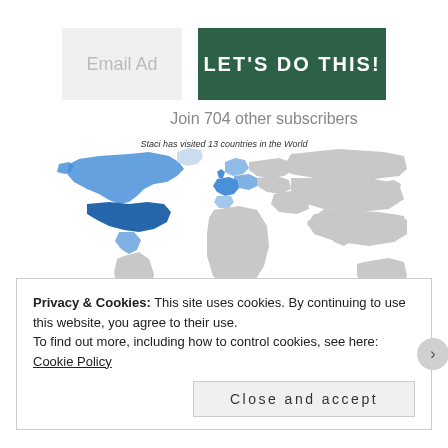[Figure (other): Email Ad placeholder box (gray)]
LET'S DO THIS!
Join 704 other subscribers
[Figure (map): World map showing Staci has visited 13 countries in the World, with North America and parts of Europe highlighted in blue. Labeled #TRAVELSTOKE and matador network.]
Privacy & Cookies: This site uses cookies. By continuing to use this website, you agree to their use.
To find out more, including how to control cookies, see here: Cookie Policy
Close and accept